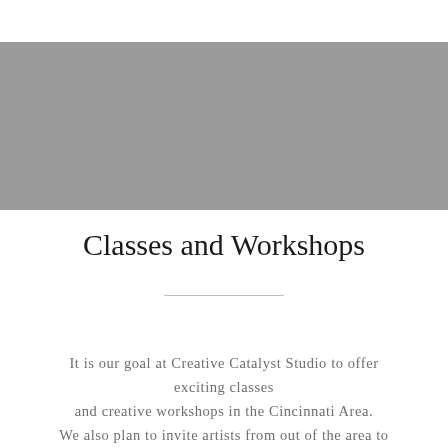[Figure (other): Gray banner/image placeholder at top of page]
Classes and Workshops
It is our goal at Creative Catalyst Studio to offer exciting classes and creative workshops in the Cincinnati Area. We also plan to invite artists from out of the area to